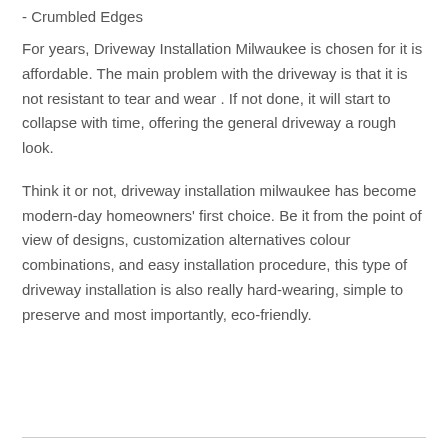- Crumbled Edges
For years, Driveway Installation Milwaukee is chosen for it is affordable. The main problem with the driveway is that it is not resistant to tear and wear . If not done, it will start to collapse with time, offering the general driveway a rough look.
Think it or not, driveway installation milwaukee has become modern-day homeowners' first choice. Be it from the point of view of designs, customization alternatives colour combinations, and easy installation procedure, this type of driveway installation is also really hard-wearing, simple to preserve and most importantly, eco-friendly.